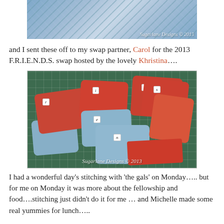[Figure (photo): Top partial photo showing fabric/quilting items with 'Sugarlane Designs © 2013' watermark]
and I sent these off to my swap partner, Carol for the 2013 F.R.I.E.N.D.S. swap hosted by the lovely Khristina….
[Figure (photo): Photo of red and blue fabric pouches/bags labeled with letters on a green cutting mat. Watermark: Sugarlane Designs © 2013]
I had a wonderful day's stitching with 'the gals' on Monday….. but for me on Monday it was more about the fellowship and food….stitching just didn't do it for me … and Michelle made some real yummies for lunch…..